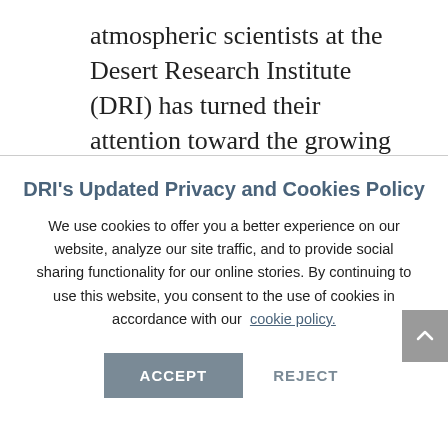atmospheric scientists at the Desert Research Institute (DRI) has turned their attention toward the growing e-cigarette industry and the unidentified effects of vaping on
DRI's Updated Privacy and Cookies Policy
We use cookies to offer you a better experience on our website, analyze our site traffic, and to provide social sharing functionality for our online stories. By continuing to use this website, you consent to the use of cookies in accordance with our cookie policy.
ACCEPT
REJECT